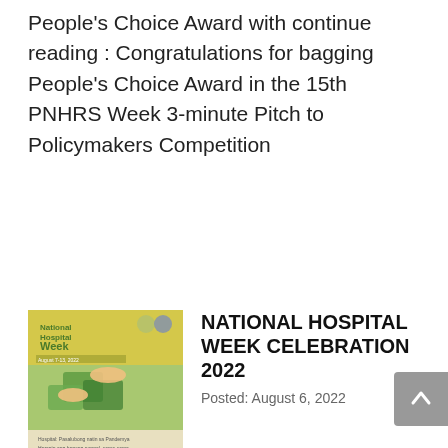People's Choice Award with continue reading : Congratulations for bagging People's Choice Award in the 15th PNHRS Week 3-minute Pitch to Policymakers Competition
[Figure (illustration): National Hospital Week poster showing puzzle pieces and hands on a green background with text 'National Hospital Week']
NATIONAL HOSPITAL WEEK CELEBRATION 2022
Posted: August 6, 2022
August 6, marks the start of the 2022 National Hospital Week Celebration! In line with this, the Department of Health (DOH), in collaboration with hospitals, health facilities, agencies and offices, both government and private will commence the